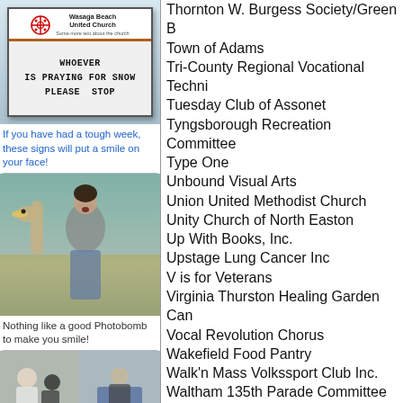[Figure (photo): Church sign reading 'Wasaga Beach United Church' with message 'WHOEVER IS PRAYING FOR SNOW PLEASE STOP']
If you have had a tough week, these signs will put a smile on your face!
[Figure (photo): Woman laughing while an ostrich photobombs behind her]
Nothing like a good Photobomb to make you smile!
[Figure (photo): Two photos showing people at an outdoor event]
Thornton W. Burgess Society/Green B
Town of Adams
Tri-County Regional Vocational Techni
Tuesday Club of Assonet
Tyngsborough Recreation Committee
Type One
Unbound Visual Arts
Union United Methodist Church
Unity Church of North Easton
Up With Books, Inc.
Upstage Lung Cancer Inc
V is for Veterans
Virginia Thurston Healing Garden Can
Vocal Revolution Chorus
Wakefield Food Pantry
Walk'n Mass Volkssport Club Inc.
Waltham 135th Parade Committee
Waltham Fields Community Farm
Waltham Land Trust, Inc.
Waltham Philharmonic Orchestra
Washington DC Temple Visitors Cente
Weavers Guild of Boston
Weavers' Guild of Boston
Wellesley Players Inc.
Wellsley Community Childrens Center